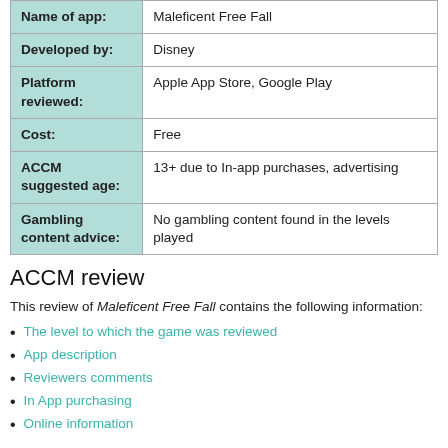| Label | Value |
| --- | --- |
| Name of app: | Maleficent Free Fall |
| Developed by: | Disney |
| Platform reviewed: | Apple App Store, Google Play |
| Cost: | Free |
| ACCM suggested age: | 13+ due to In-app purchases, advertising |
| Gambling content advice: | No gambling content found in the levels played |
ACCM review
This review of Maleficent Free Fall contains the following information:
The level to which the game was reviewed
App description
Reviewers comments
In App purchasing
Online information